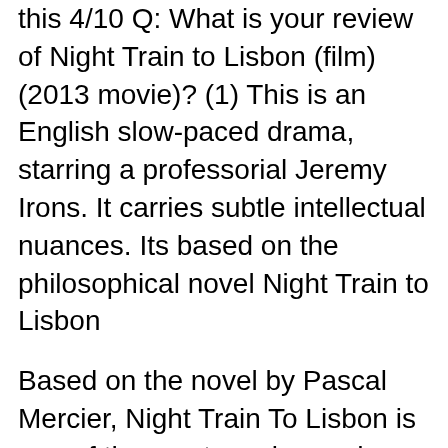this 4/10 Q: What is your review of Night Train to Lisbon (film) (2013 movie)? (1) This is an English slow-paced drama, starring a professorial Jeremy Irons. It carries subtle intellectual nuances. Its based on the philosophical novel Night Train to Lisbon
Based on the novel by Pascal Mercier, Night Train To Lisbon is one of the most moving and finely crafted cinema experiences you will have this year. The story involves a teacher (Jeremy Irons) suddenly abandoning his teaching career after saving a mysterious young woman from suicide.She disappears leaving only her jacket with a book in its pocket and a ticket to Lisbon.